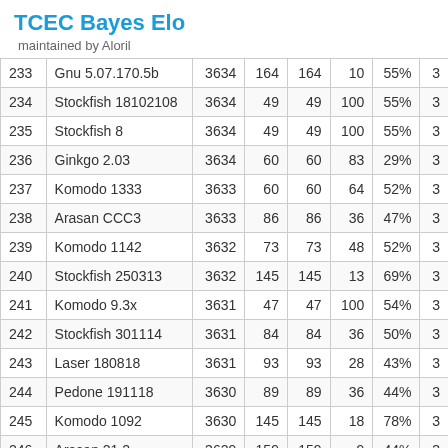TCEC Bayes Elo
maintained by Aloril
| # | Engine | Elo | G+ | G- | GLen | % |  |
| --- | --- | --- | --- | --- | --- | --- | --- |
| 233 | Gnu 5.07.170.5b | 3634 | 164 | 164 | 10 | 55% | 3 |
| 234 | Stockfish 18102108 | 3634 | 49 | 49 | 100 | 55% | 3 |
| 235 | Stockfish 8 | 3634 | 49 | 49 | 100 | 55% | 3 |
| 236 | Ginkgo 2.03 | 3634 | 60 | 60 | 83 | 29% | 3 |
| 237 | Komodo 1333 | 3633 | 60 | 60 | 64 | 52% | 3 |
| 238 | Arasan CCC3 | 3633 | 86 | 86 | 36 | 47% | 3 |
| 239 | Komodo 1142 | 3632 | 73 | 73 | 48 | 52% | 3 |
| 240 | Stockfish 250313 | 3632 | 145 | 145 | 13 | 69% | 3 |
| 241 | Komodo 9.3x | 3631 | 47 | 47 | 100 | 54% | 3 |
| 242 | Stockfish 301114 | 3631 | 84 | 84 | 36 | 50% | 3 |
| 243 | Laser 180818 | 3631 | 93 | 93 | 28 | 43% | 3 |
| 244 | Pedone 191118 | 3630 | 89 | 89 | 36 | 44% | 3 |
| 245 | Komodo 1092 | 3630 | 145 | 145 | 18 | 78% | 3 |
| 246 | Arasan 21.2 | 3629 | 159 | 159 | 9 | 44% | 3 |